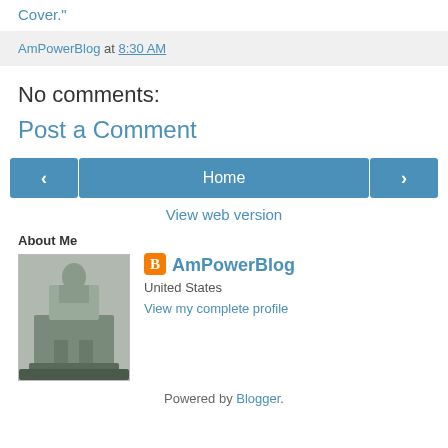Cover."
AmPowerBlog at 8:30 AM
No comments:
Post a Comment
< Home >
View web version
About Me
[Figure (photo): Profile photo showing a statue of a figure on a pedestal in a town square]
AmPowerBlog
United States
View my complete profile
Powered by Blogger.